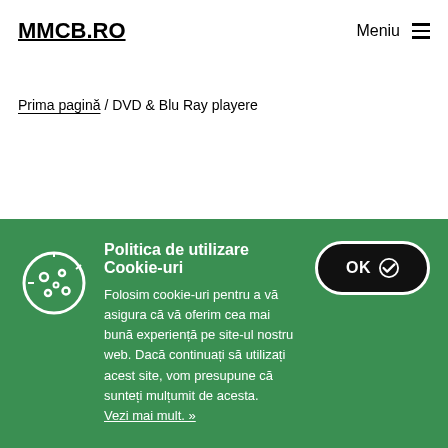MMCB.RO
Meniu ☰
Prima pagină / DVD & Blu Ray playere
Politica de utilizare Cookie-uri
Folosim cookie-uri pentru a vă asigura că vă oferim cea mai bună experiență pe site-ul nostru web. Dacă continuați să utilizați acest site, vom presupune că sunteți mulțumit de acesta. Vezi mai mult. »